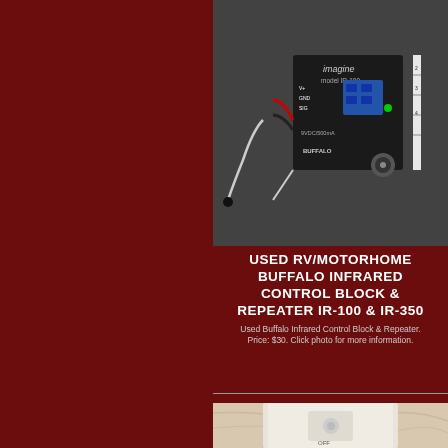[Figure (photo): Photo of a Buffalo Electronics Imagine model IR-100 infrared control block device with wiring, mounted on carpet. Shows V+, GND, SIG terminals and 9VDC/500mA label.]
USED RV/MOTORHOME BUFFALO INFRARED CONTROL BLOCK & REPEATER IR-100 & IR-350
Used Buffalo Infrared Control Block & Repeater. Price: $30. Click photo for more information.
[Figure (photo): Partial photo of a white wall switch panel with OFF label and a button/dial, on a patterned surface.]